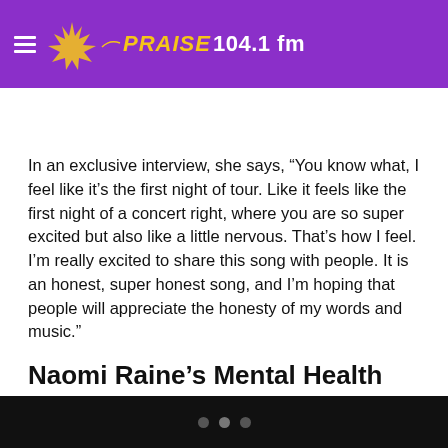PRAISE 104.1 fm
In an exclusive interview, she says, “You know what, I feel like it’s the first night of tour. Like it feels like the first night of a concert right, where you are so super excited but also like a little nervous. That’s how I feel. I’m really excited to share this song with people. It is an honest, super honest song, and I’m hoping that people will appreciate the honesty of my words and music.”
Naomi Raine’s Mental Health Inspired Her Latest Single